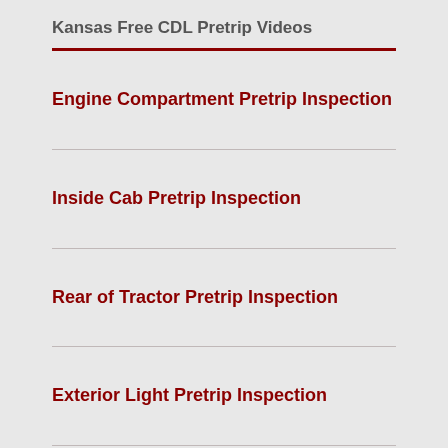Kansas Free CDL Pretrip Videos
Engine Compartment Pretrip Inspection
Inside Cab Pretrip Inspection
Rear of Tractor Pretrip Inspection
Exterior Light Pretrip Inspection